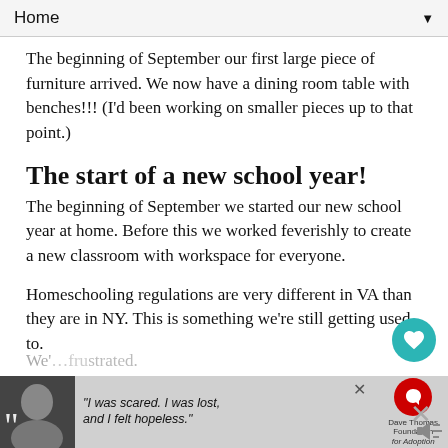Home
The beginning of September our first large piece of furniture arrived.  We now have a dining room table with benches!!!  (I'd been working on smaller pieces up to that point.)
The start of a new school year!
The beginning of September we started our new school year at home.  Before this we worked feverishly to create a new classroom with workspace for everyone.
Homeschooling regulations are very different in VA than they are in NY.  This is something we're still getting used to.
All four kids are working in the same space now with the same shelves.
Though our start has been slow and I have yet to share any of promise it's coming.
We'…frustrated.